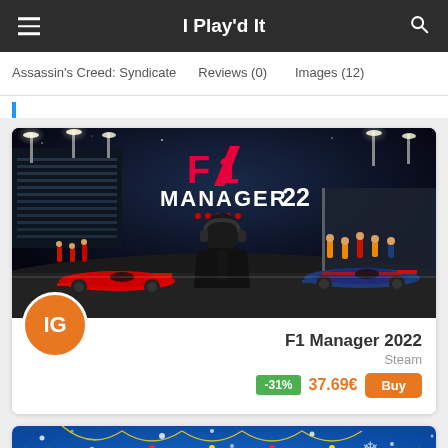I Play'd It
Assassin's Creed: Syndicate   Reviews (0)   Images (12)
[Figure (screenshot): F1 Manager 2022 game cover art showing a manager seated in front of Formula 1 cars at a night race circuit, with the F1 Manager 22 logo in red and white]
F1 Manager 2022
Steam
-31%  37.69€  Buy